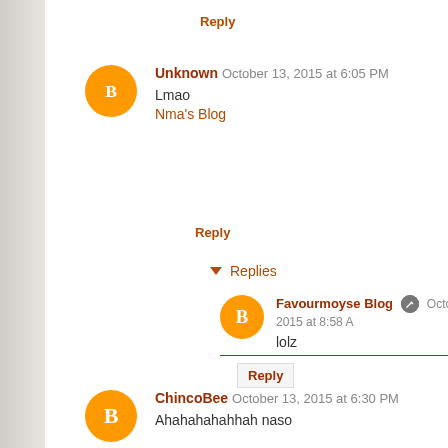Reply
Unknown  October 13, 2015 at 6:05 PM
Lmao
Nma's Blog
Reply
▼ Replies
Favourmoyse Blog  October 16, 2015 at 8:58 A
lolz
Reply
ChincoBee  October 13, 2015 at 6:30 PM
Ahahahahanh naso